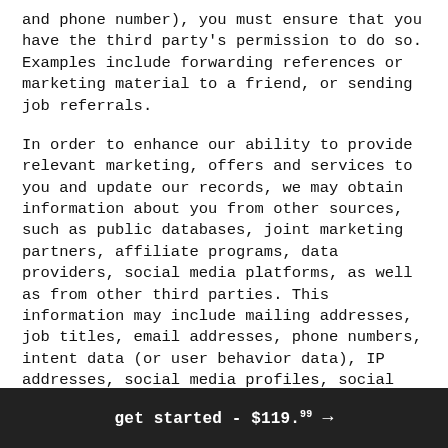and phone number), you must ensure that you have the third party's permission to do so. Examples include forwarding references or marketing material to a friend, or sending job referrals.
In order to enhance our ability to provide relevant marketing, offers and services to you and update our records, we may obtain information about you from other sources, such as public databases, joint marketing partners, affiliate programs, data providers, social media platforms, as well as from other third parties. This information may include mailing addresses, job titles, email addresses, phone numbers, intent data (or user behavior data), IP addresses, social media profiles, social media URLs and custom profiles, for purposes of targeted advertising, event promotion and customizing our Site to your
get started - $119.99 →